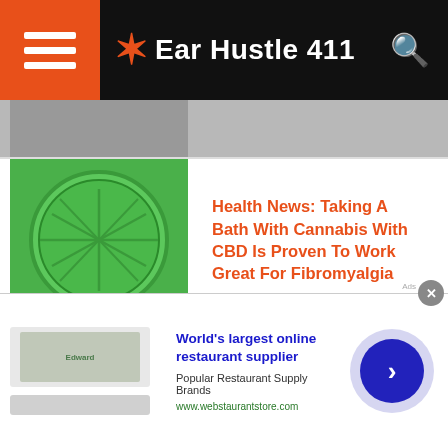Ear Hustle 411
[Figure (photo): Partially visible image at top, cropped]
Health News: Taking A Bath With Cannabis With CBD Is Proven To Work Great For Fibromyalgia
[Figure (photo): Green circular cannabis bath bomb with leaf pattern]
People With Conceal Carry Can Now Carry Their Weapons across State Lines
[Figure (photo): Person holding a gun in a store]
Why is France & Italy Fighting Over
[Figure (photo): Partially visible article image]
[Figure (other): Advertisement: World's largest online restaurant supplier - webstaurantstore.com]